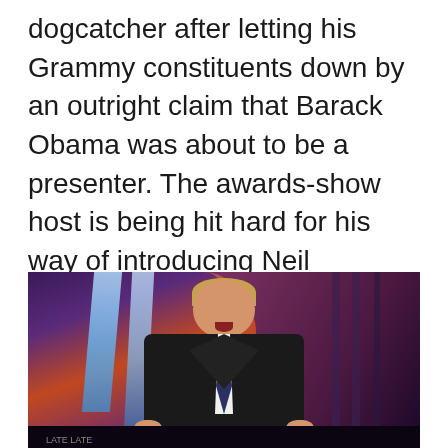dogcatcher after letting his Grammy constituents down by an outright claim that Barack Obama was about to be a presenter. The awards-show host is being hit hard for his way of introducing Neil Portnow, president and CEO of the Santa Monica-based Recording Academy (formerly the National Academy of [...]
[Figure (photo): A man in a black suit and tie standing on a stage with a purple/pink and orange lit background, mouth open as if speaking]